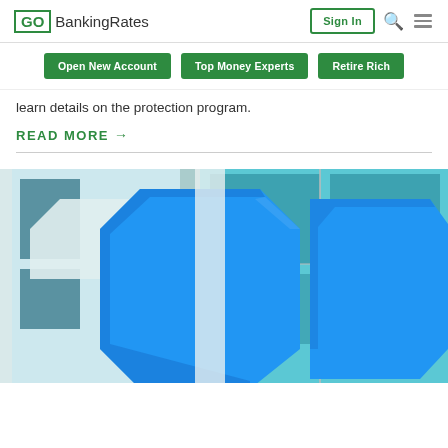GoBankingRates | Sign In | Search | Menu
Open New Account
Top Money Experts
Retire Rich
learn details on the protection program.
READ MORE →
[Figure (photo): Close-up photo of large blue 3D letters on a bank building facade with teal/turquoise window glass in the background — appears to be a Chase or similar bank branch exterior sign.]